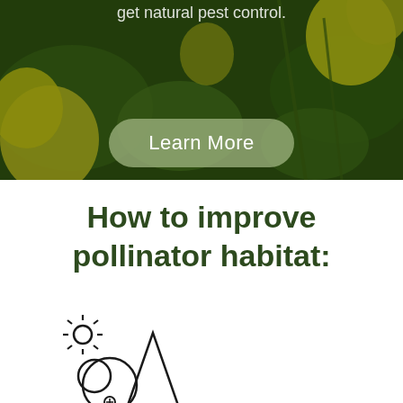[Figure (photo): Close-up photograph of yellow wildflowers (buttercups) with green blurred background, dark olive-green tone overlay]
Learn More
How to improve pollinator habitat:
[Figure (illustration): Line art icon of trees and plants with a sun, nature/habitat illustration in dark outline style]